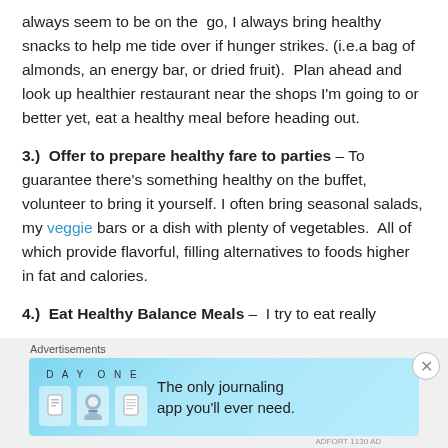always seem to be on the go, I always bring healthy snacks to help me tide over if hunger strikes. (i.e.a bag of almonds, an energy bar, or dried fruit).  Plan ahead and look up healthier restaurant near the shops I'm going to or better yet, eat a healthy meal before heading out.
3.)  Offer to prepare healthy fare to parties – To guarantee there's something healthy on the buffet, volunteer to bring it yourself. I often bring seasonal salads, my veggie bars or a dish with plenty of vegetables.  All of which provide flavorful, filling alternatives to foods higher in fat and calories.
4.)  Eat Healthy Balance Meals –  I try to eat really
Advertisements
[Figure (other): DayOne journaling app advertisement banner with light blue background, showing app icons and the text 'The only journaling app you'll ever need.']